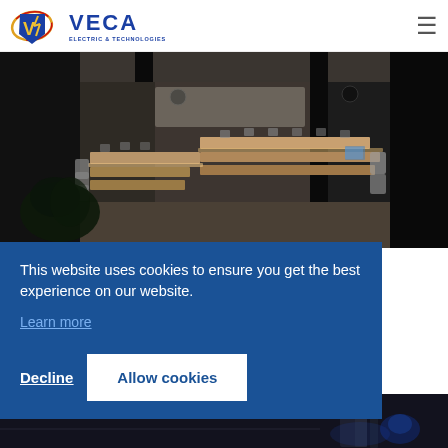VECA ELECTRIC & TECHNOLOGIES
[Figure (photo): Interior photo of a conference/meeting room viewed through glass panels, showing rows of light-colored desks arranged in a U-shape with white chairs, warm lighting under the tables, dark structural pillars, and potted plants in the foreground. The room is dimly lit with warm accent lighting.]
This website uses cookies to ensure you get the best experience on our website.
Learn more
Decline
Allow cookies
proven
working
[Figure (photo): Partial bottom strip showing a dark industrial scene, likely electrical or manufacturing equipment.]